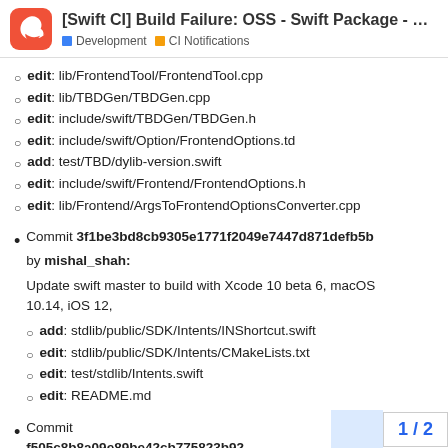[Swift CI] Build Failure: OSS - Swift Package - U...
edit: lib/FrontendTool/FrontendTool.cpp
edit: lib/TBDGen/TBDGen.cpp
edit: include/swift/TBDGen/TBDGen.h
edit: include/swift/Option/FrontendOptions.td
add: test/TBD/dylib-version.swift
edit: include/swift/Frontend/FrontendOptions.h
edit: lib/Frontend/ArgsToFrontendOptionsConverter.cpp
Commit 3f1be3bd8cb9305e1771f2049e7447d871defb5b by mishal_shah: Update swift master to build with Xcode 10 beta 6, macOS 10.14, iOS 12,
add: stdlib/public/SDK/Intents/INShortcut.swift
edit: stdlib/public/SDK/Intents/CMakeLists.txt
edit: test/stdlib/Intents.swift
edit: README.md
Commit f505c8b8a09e89be42cb775823b92
1 / 2